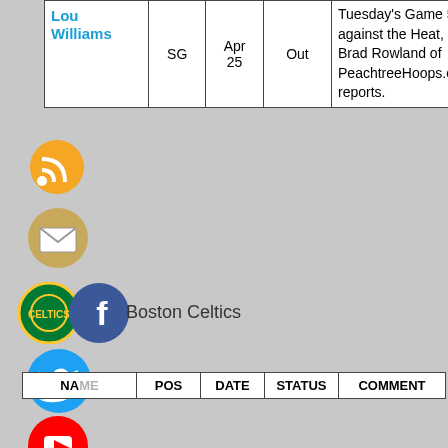| NAME | POS | DATE | STATUS | COMMENT |
| --- | --- | --- | --- | --- |
| Lou Williams | SG | Apr 25 | Out | Tuesday's Game 5 against the Heat, Brad Rowland of PeachtreeHoops.co reports. |
Boston Celtics
| NAME | POS | DATE | STATUS | COMMENT |
| --- | --- | --- | --- | --- |
| Sam Hauser | SF | May 16 | Out | Hauser (shoulder) is out for Tuesday's Game 1 of the Eastern Conference Finals. |
|  |  |  |  | Smart is considered |